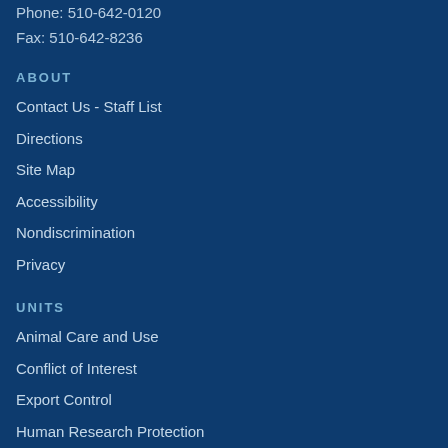Phone: 510-642-0120
Fax: 510-642-8236
ABOUT
Contact Us - Staff List
Directions
Site Map
Accessibility
Nondiscrimination
Privacy
UNITS
Animal Care and Use
Conflict of Interest
Export Control
Human Research Protection